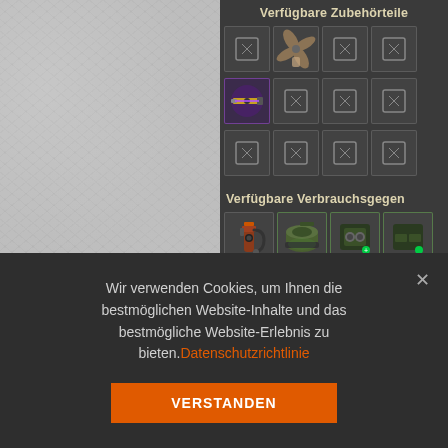[Figure (screenshot): Game UI screenshot showing available accessories (Verfügbare Zubehörteile) panel with item slots, some filled with game items (aircraft propeller, weapon), others empty. Below shows Verfügbare Verbrauchsgegen (available consumables) section with consumable item icons.]
Verfügbare Zubehörteile
Verfügbare Verbrauchsgegen
Wir verwenden Cookies, um Ihnen die bestmöglichen Website-Inhalte und das bestmögliche Website-Erlebnis zu bieten. Datenschutzrichtlinie
VERSTANDEN